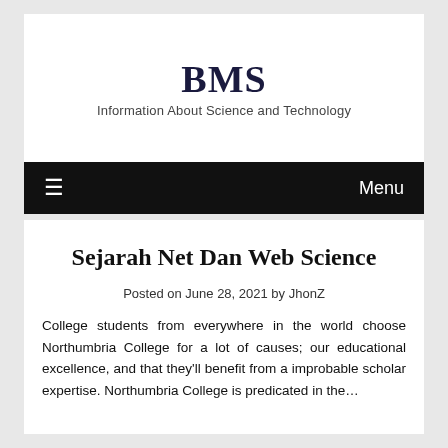BMS
Information About Science and Technology
≡  Menu
Sejarah Net Dan Web Science
Posted on June 28, 2021 by JhonZ
College students from everywhere in the world choose Northumbria College for a lot of causes; our educational excellence, and that they'll benefit from a improbable scholar expertise. Northumbria College is predicated in the...